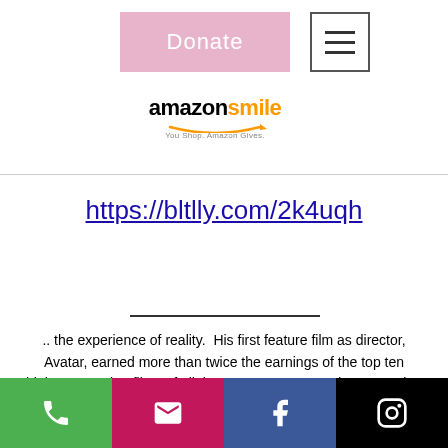[Figure (logo): Donate button (pink/rose background) and hamburger menu icon in a white navigation bar]
[Figure (logo): Amazon Smile logo: 'amazonsmile' text with tagline 'You Shop. Amazon Gives.']
https://bltlly.com/2k4uqh
.. the experience of reality.  His first feature film as director, Avatar, earned more than twice the earnings of the top ten highest-grossing films of all time. Cameron created Avatar using cutting-edge rendering software that allows viewers to experience the world through the eyes of the Na'vi tribal people.
[Figure (infographic): Social media footer bar with four buttons: phone (green), email (pink/magenta), Facebook (dark blue), Instagram (black)]